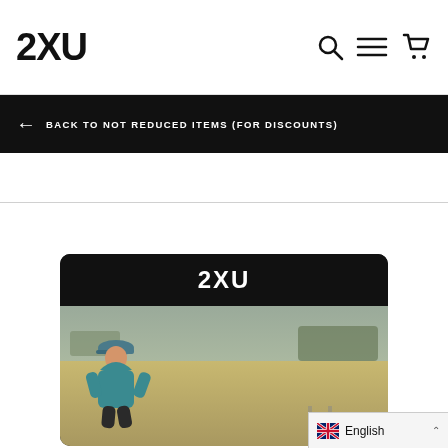2XU
← BACK TO NOT REDUCED ITEMS (FOR DISCOUNTS)
[Figure (photo): 2XU brand product page showing a man running in teal/blue jacket and cap in an outdoor field setting, with 2XU logo banner above the photo]